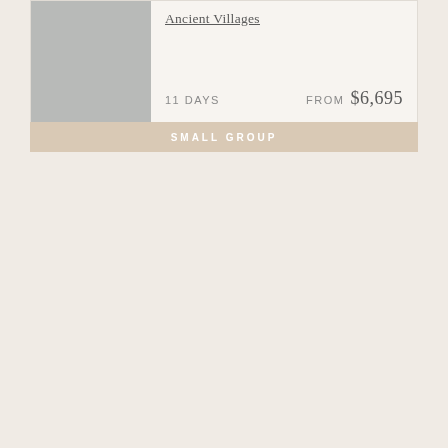[Figure (photo): Gray placeholder image for a travel tour — Ancient Villages, 11 days, from $6,695, Small Group tour card]
Ancient Villages
11 DAYS   FROM  $6,695
SMALL GROUP